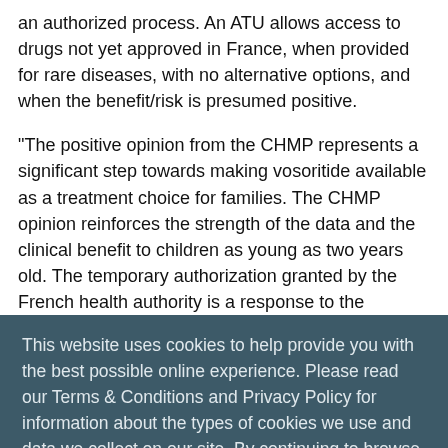an authorized process. An ATU allows access to drugs not yet approved in France, when provided for rare diseases, with no alternative options, and when the benefit/risk is presumed positive.
"The positive opinion from the CHMP represents a significant step towards making vosoritide available as a treatment choice for families. The CHMP opinion reinforces the strength of the data and the clinical benefit to children as young as two years old. The temporary authorization granted by the French health authority is a response to the urgency to treat these children," said Hank Fuchs, M.D., President Worldwide Research and
This website uses cookies to help provide you with the best possible online experience. Please read our Terms & Conditions and Privacy Policy for information about the types of cookies we use and data we collect on our site. By continuing to browse this site, you agree to our Terms & Conditions and that we may place and access cookies on your device.
I AGREE
participation in this clinical program."